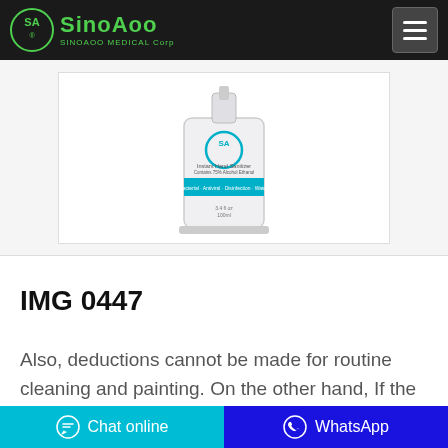[Figure (logo): SinoAoo Medical Corp logo with green circle emblem and green text on dark header]
[Figure (photo): Product photo of a white pump bottle labeled 'Instant Hand Sanitizer' with teal band, 75% Alcohol, 3.4 fl oz / 100ml, shown against white background]
IMG 0447
Also, deductions cannot be made for routine cleaning and painting. On the other hand, If the tenant made no effort to clean before moving out, the landlord